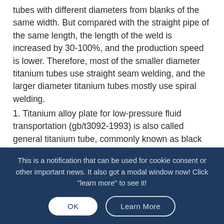tubes with different diameters from blanks of the same width. But compared with the straight pipe of the same length, the length of the weld is increased by 30-100%, and the production speed is lower. Therefore, most of the smaller diameter titanium tubes use straight seam welding, and the larger diameter titanium tubes mostly use spiral welding.
1. Titanium alloy plate for low-pressure fluid transportation (gb/t3092-1993) is also called general titanium tube, commonly known as black
This is a notification that can be used for cookie consent or other important news. It also got a modal window now! Click "learn more" to see it!